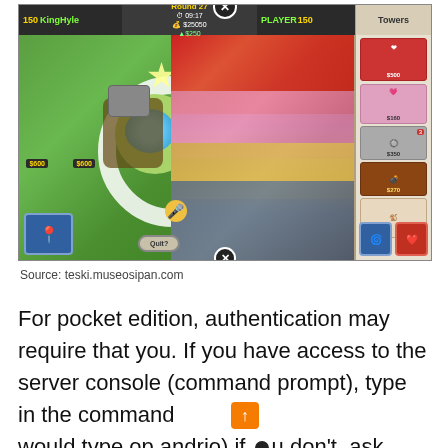[Figure (screenshot): Screenshot of Bloons Tower Defense mobile game showing split screen with tower defense map on left and balloon enemies on right, with towers panel on far right. HUD shows: 150 KingHyle, Round 27, 09:17 timer, $25050 cash, A$250, PLAYER 150. Towers priced at $500, $160, $350, $270. Left panel shows $600 labels. Bottom has Quit button and close X.]
Source: teski.museosipan.com
For pocket edition, authentication may require that you. If you have access to the server console (command prompt), type in the command a would type op andrio).if ou don't, ask someone